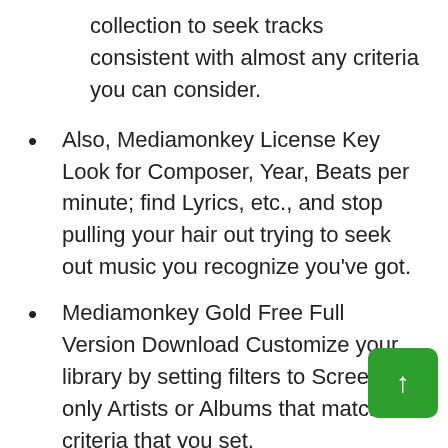collection to seek tracks consistent with almost any criteria you can consider.
Also, Mediamonkey License Key Look for Composer, Year, Beats per minute; find Lyrics, etc., and stop pulling your hair out trying to seek out music you recognize you've got.
Mediamonkey Gold Free Full Version Download Customize your library by setting filters to Screen only Artists or Albums that match the criteria that you set.
So, MediaMonkey Crack set a filter that causes Artists to seem within the tree as long as they contain Albums that are currently available and are of any genre aside from 'Children.' for instanc
Mediamonkey License Key you're so inclined, you'll manually replace it with the free LAME encoder